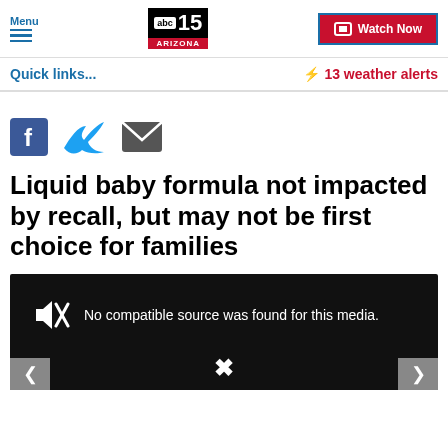Menu | ABC15 ARIZONA | Watch Now
Quick links... | ⚡ 13 weather alerts
[Figure (screenshot): Social sharing icons: Facebook, Twitter, Email]
Liquid baby formula not impacted by recall, but may not be first choice for families
[Figure (screenshot): Video media player showing: No compatible source was found for this media.]